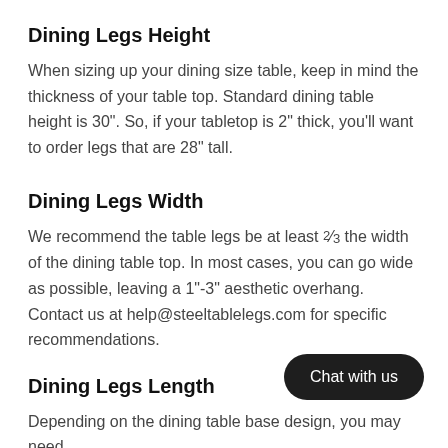Dining Legs Height
When sizing up your dining size table, keep in mind the thickness of your table top. Standard dining table height is 30". So, if your tabletop is 2" thick, you'll want to order legs that are 28" tall.
Dining Legs Width
We recommend the table legs be at least ⅔ the width of the dining table top. In most cases, you can go wide as possible, leaving a 1"-3" aesthetic overhang. Contact us at help@steeltablelegs.com for specific recommendations.
Dining Legs Length
Depending on the dining table base design, you may need...